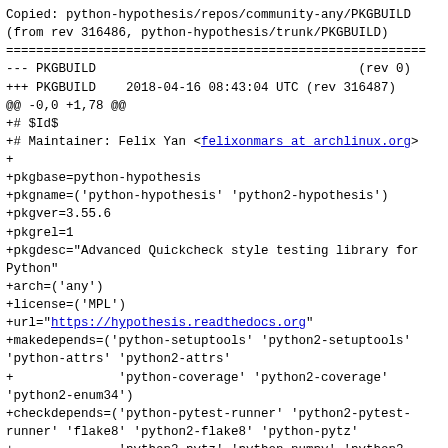Copied: python-hypothesis/repos/community-any/PKGBUILD
(from rev 316486, python-hypothesis/trunk/PKGBUILD)
========================================================
--- PKGBUILD                                   (rev 0)
+++ PKGBUILD    2018-04-16 08:43:04 UTC (rev 316487)
@@ -0,0 +1,78 @@
+# $Id$
+# Maintainer: Felix Yan <felixonmars at archlinux.org>
+
+pkgbase=python-hypothesis
+pkgname=('python-hypothesis' 'python2-hypothesis')
+pkgver=3.55.6
+pkgrel=1
+pkgdesc="Advanced Quickcheck style testing library for Python"
+arch=('any')
+license=('MPL')
+url="https://hypothesis.readthedocs.org"
+makedepends=('python-setuptools' 'python2-setuptools' 'python-attrs' 'python2-attrs'
+              'python-coverage' 'python2-coverage' 'python2-enum34')
+checkdepends=('python-pytest-runner' 'python2-pytest-runner' 'flake8' 'python2-flake8' 'python-pytz'
+              'python2-pytz' 'python-numpy' 'python2-numpy' 'python-faker' 'python2-faker'
+              'python-flaky' 'python2-flaky' 'python-pytest-benchmark' 'python2-pytest-benchmark'
+              'python-django' 'python2-django' 'python-pytest-xdist' 'python2-pytest-xdist'